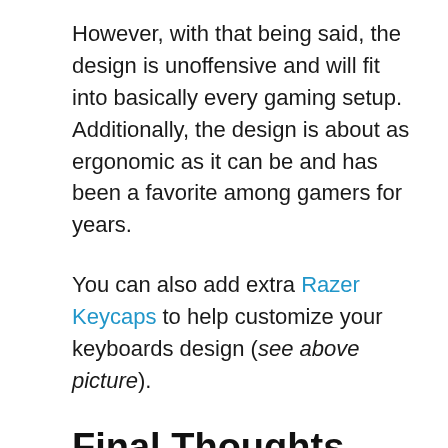However, with that being said, the design is unoffensive and will fit into basically every gaming setup. Additionally, the design is about as ergonomic as it can be and has been a favorite among gamers for years.
You can also add extra Razer Keycaps to help customize your keyboards design (see above picture).
Final Thoughts